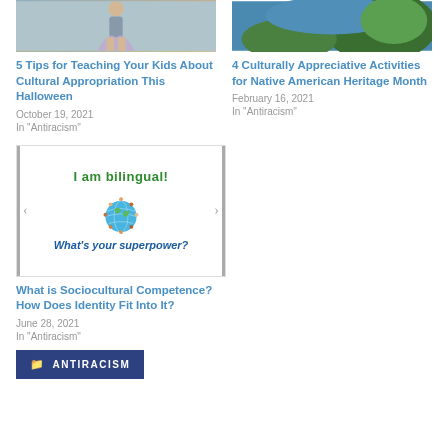[Figure (photo): Photo of a person in a dress/costume, cultural appropriation themed image]
5 Tips for Teaching Your Kids About Cultural Appropriation This Halloween
October 19, 2021
In "Antiracism"
[Figure (photo): Satellite map view of South America with green and blue terrain]
4 Culturally Appreciative Activities for Native American Heritage Month
February 16, 2021
In "Antiracism"
[Figure (illustration): I am bilingual! What's your superpower? image with globe and diverse children]
What is Sociocultural Competence? How Does Identity Fit Into It?
June 28, 2021
In "Antiracism"
ANTIRACISM